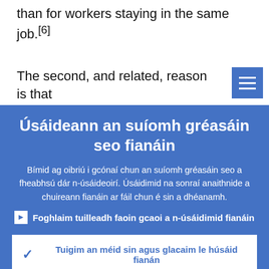than for workers staying in the same job.[6]
The second, and related, reason is that
Úsáideann an suíomh gréasáin seo fianáin
Bímid ag oibriú i gcónaí chun an suíomh gréasáin seo a fheabhsú dár n-úsáideoirí. Úsáidimid na sonraí anaithnide a chuireann fianáin ar fáil chun é sin a dhéanamh.
Foghlaim tuilleadh faoin gcaoi a n-úsáidimid fianáin
Tuigim an méid sin agus glacaim le húsáid fianán
Ní ghlacaim le húsáid fianán